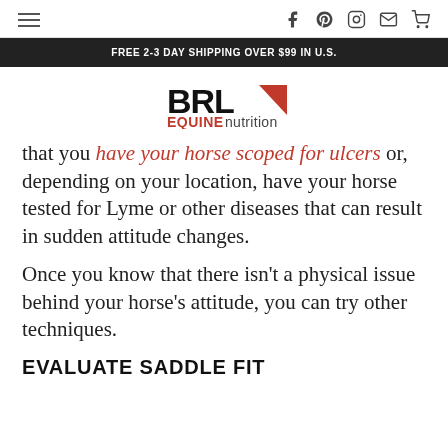≡   f  p  ○  ✉  🛒
FREE 2-3 DAY SHIPPING OVER $99 IN U.S.
[Figure (logo): BRL Equine Nutrition logo]
that you have your horse scoped for ulcers or, depending on your location, have your horse tested for Lyme or other diseases that can result in sudden attitude changes.
Once you know that there isn't a physical issue behind your horse's attitude, you can try other techniques.
EVALUATE SADDLE FIT